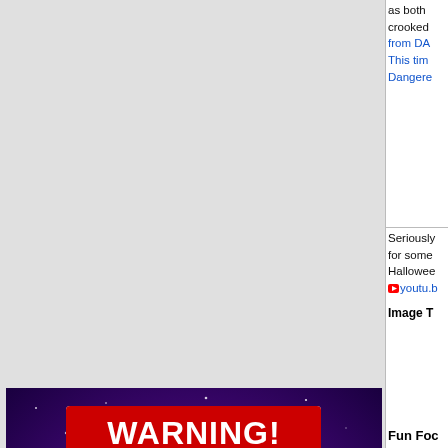as both crooked from DA This tim Dangere
Seriously for some Hallowee youtu.b
Image T
[Figure (photo): WARNING! sign with a black cat silhouette in a red circle with a slash, text reads 'Neighbors are a-watchin'!' on a purple starry background]
[Figure (screenshot): Thumbnail showing WARNING! text and Neighbors are a-watchin' label]
Fun Foc